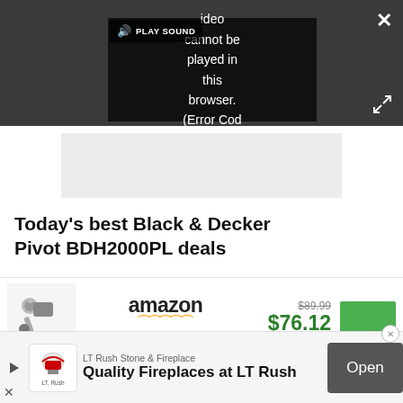[Figure (screenshot): Video player showing error: 'Video cannot be played in this browser. (Error Cod' with PLAY SOUND button, close X button, and expand/fullscreen button on dark grey background.]
[Figure (other): Grey advertisement placeholder rectangle.]
Today's best Black & Decker Pivot BDH2000PL deals
[Figure (other): Amazon product deal card for Black & Decker Pivot BDH2000PL vacuum. Shows product image, Amazon logo with smile, original price $89.99 struck through, current price $76.12 in green, and a green View Deal button.]
[Figure (other): Bottom advertisement banner: LT Rush Stone & Fireplace logo, text 'Quality Fireplaces at LT Rush', Open button in grey, close X button.]